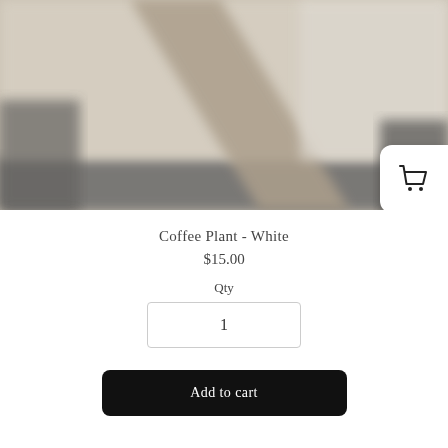[Figure (photo): Blurred product photo of a coffee plant in a white pot, with soft beige and gray tones. A shopping cart icon appears in a white rounded rectangle on the right side.]
Coffee Plant - White
$15.00
Qty
1
Add to cart